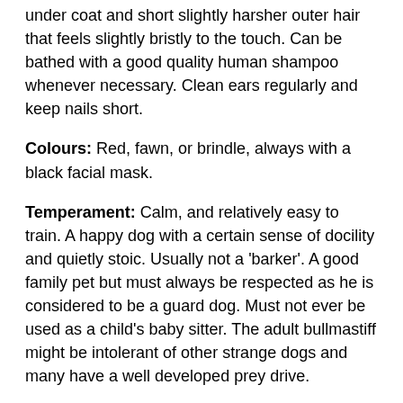under coat and short slightly harsher outer hair that feels slightly bristly to the touch. Can be bathed with a good quality human shampoo whenever necessary. Clean ears regularly and keep nails short.
Colours: Red, fawn, or brindle, always with a black facial mask.
Temperament: Calm, and relatively easy to train. A happy dog with a certain sense of docility and quietly stoic. Usually not a 'barker'. A good family pet but must always be respected as he is considered to be a guard dog. Must not ever be used as a child's baby sitter. The adult bullmastiff might be intolerant of other strange dogs and many have a well developed prey drive.
Activity: The Bullmastiff enjoys a walk with the family, but he is not a runner's dog. They are capable of short bursts of speed, but not long distance. Puppies should not be forced to run or trot hard, doing so will damage growing tendons and ligaments. They enjoy chasing a ball or toy during play periods.